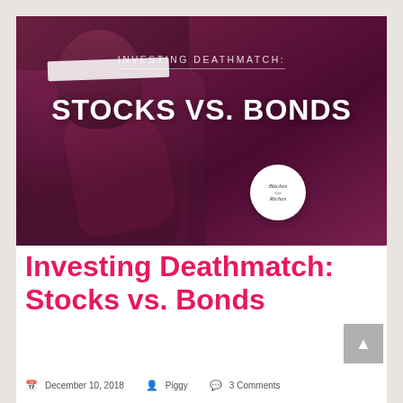[Figure (illustration): Blog hero image with dark purple/maroon background showing a figure in ornate coat with pink/magenta accent. White redaction bar across face. Text overlay reads 'INVESTING DEATHMATCH:' and 'STOCKS VS. BONDS'. Bitches Get Riches circular logo in bottom right.]
Investing Deathmatch: Stocks vs. Bonds
December 10, 2018  Piggy  3 Comments